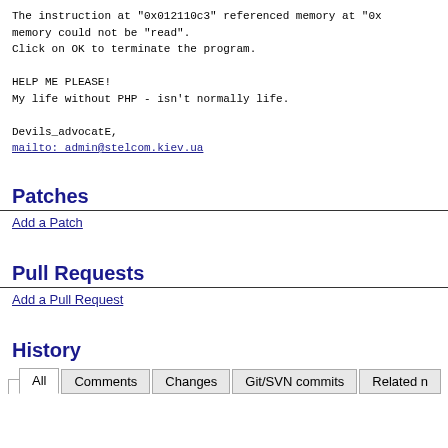The instruction at "0x012110c3" referenced memory at "0x...". memory could not be "read".
Click on OK to terminate the program.

HELP ME PLEASE!
My life without PHP - isn't normally life.

Devils_advocatE,
mailto: admin@stelcom.kiev.ua
Patches
Add a Patch
Pull Requests
Add a Pull Request
History
All | Comments | Changes | Git/SVN commits | Related n